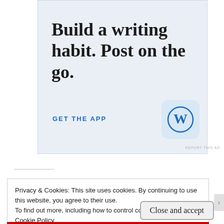[Figure (illustration): WordPress app advertisement banner with light blue-grey background. Contains large bold serif text 'Build a writing habit. Post on the go.' followed by 'GET THE APP' link in blue uppercase letters and a WordPress 'W' logo icon in a rounded square.]
REPORT THIS AD
Privacy & Cookies: This site uses cookies. By continuing to use this website, you agree to their use.
To find out more, including how to control cookies, see here:
Cookie Policy
Close and accept